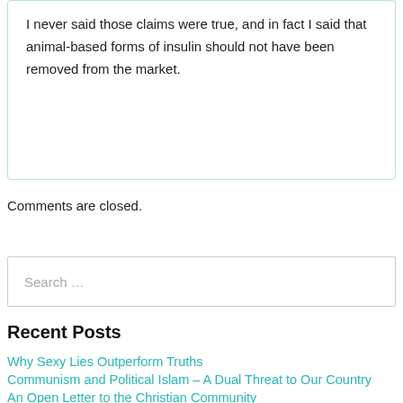I never said those claims were true, and in fact I said that animal-based forms of insulin should not have been removed from the market.
Comments are closed.
Search …
Recent Posts
Why Sexy Lies Outperform Truths
Communism and Political Islam – A Dual Threat to Our Country
An Open Letter to the Christian Community